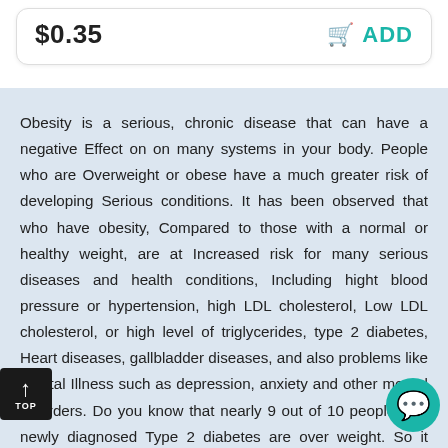$0.35
ADD
Obesity is a serious, chronic disease that can have a negative Effect on on many systems in your body. People who are Overweight or obese have a much greater risk of developing Serious conditions. It has been observed that who have obesity, Compared to those with a normal or healthy weight, are at Increased risk for many serious diseases and health conditions, Including hight blood pressure or hypertension, high LDL cholesterol, Low LDL cholesterol, or high level of triglycerides, type 2 diabetes, Heart diseases, gallbladder diseases, and also problems like mental Illness such as depression, anxiety and other mental disorders. Do you know that nearly 9 out of 10 people with newly diagnosed Type 2 diabetes are over weight. So it becomes ally important To keep yourself healthy and fit to avoid such diseases to target Your happy life. Now, where's the solution to problems? So here we are www.onlinebluepills.com providing you